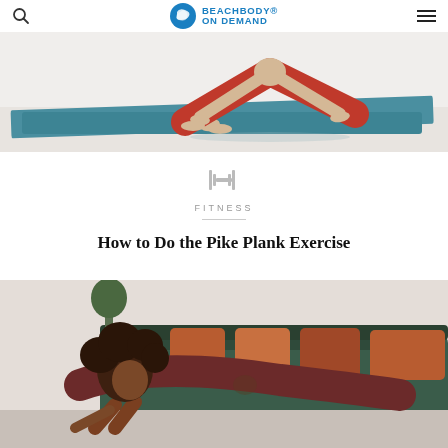Beachbody On Demand
[Figure (photo): Person in red shorts performing a pike/downward dog pose on a blue yoga mat on a light floor]
[Figure (logo): Beachbody On Demand logo with blue circle icon and text]
FITNESS
How to Do the Pike Plank Exercise
[Figure (photo): Woman with curly hair in dark red athletic wear performing a plank or pike exercise on the floor in front of a green couch with orange/rust pillows]